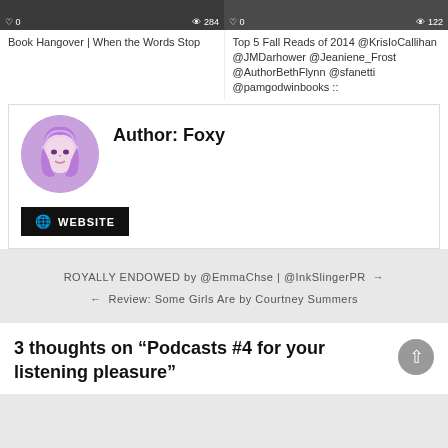[Figure (screenshot): Two video/post thumbnails side by side with heart and view count overlays]
Book Hangover | When the Words Stop
Top 5 Fall Reads of 2014 @KrisIoCallihan @JMDarhower @Jeaniene_Frost @AuthorBethFlynn @sfanetti @pamgodwinbooks ::
Author: Foxy
WEBSITE
ROYALLY ENDOWED by @EmmaChse | @InkSlingerPR →
← Review: Some Girls Are by Courtney Summers
3 thoughts on “Podcasts #4 for your listening pleasure”